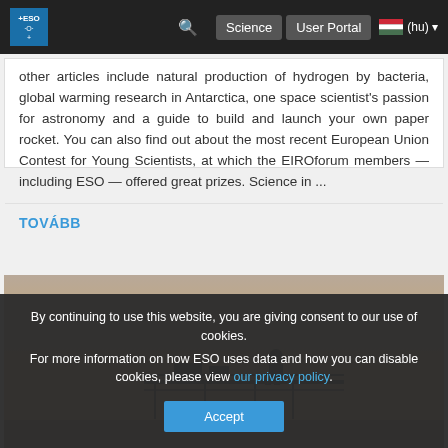ESO — Science — User Portal — (hu)
other articles include natural production of hydrogen by bacteria, global warming research in Antarctica, one space scientist's passion for astronomy and a guide to build and launch your own paper rocket. You can also find out about the most recent European Union Contest for Young Scientists, at which the EIROforum members — including ESO — offered great prizes. Science in ...
TOVÁBB
[Figure (photo): Silhouette of a person standing on an elevated platform or telescope structure at sunset, with orange/golden sky background]
By continuing to use this website, you are giving consent to our use of cookies.
For more information on how ESO uses data and how you can disable cookies, please view our privacy policy.